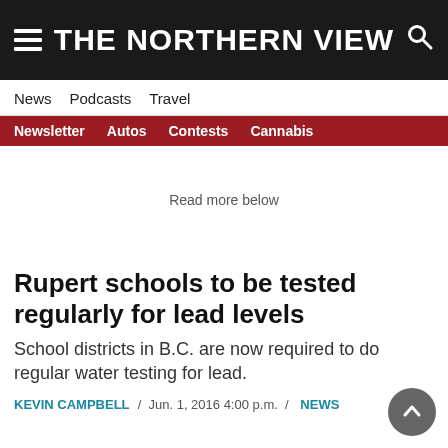THE NORTHERN VIEW
News  Podcasts  Travel
Newsletter  Autos  Contests  Cannabis
Read more below
Rupert schools to be tested regularly for lead levels
School districts in B.C. are now required to do regular water testing for lead.
KEVIN CAMPBELL / Jun. 1, 2016 4:00 p.m. / NEWS